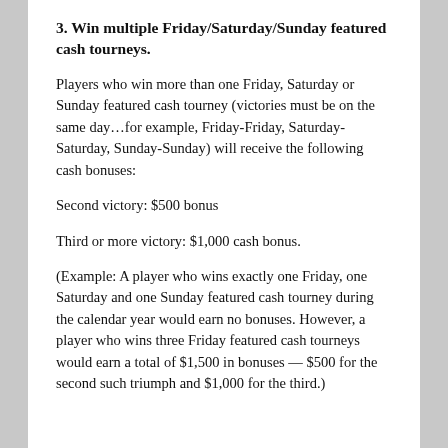3. Win multiple Friday/Saturday/Sunday featured cash tourneys.
Players who win more than one Friday, Saturday or Sunday featured cash tourney (victories must be on the same day…for example, Friday-Friday, Saturday-Saturday, Sunday-Sunday) will receive the following cash bonuses:
Second victory: $500 bonus
Third or more victory: $1,000 cash bonus.
(Example: A player who wins exactly one Friday, one Saturday and one Sunday featured cash tourney during the calendar year would earn no bonuses. However, a player who wins three Friday featured cash tourneys would earn a total of $1,500 in bonuses — $500 for the second such triumph and $1,000 for the third.)